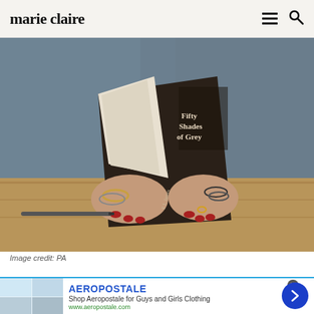marie claire
[Figure (photo): Person in denim jacket holding and reading a copy of 'Fifty Shades of Grey' by E L James at a wooden table; a pen is visible on the left side of the table; the person has red nails and wears bracelets and a ring.]
Image credit: PA
[Figure (screenshot): Aeropostale advertisement banner: 'AEROPOSTALE — Shop Aeropostale for Guys and Girls Clothing — www.aeropostale.com' with a blue forward arrow button on the right and clothing images on the left.]